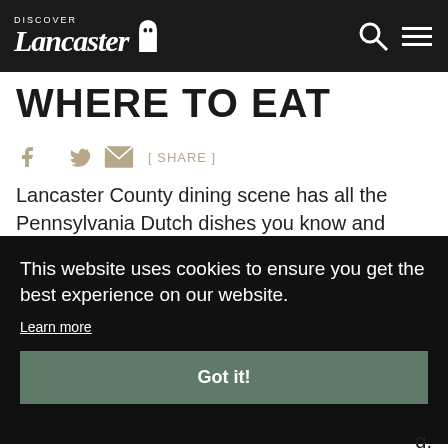DISCOVER Lancaster
WHERE TO EAT
[ SHARE ]
Lancaster County dining scene has all the Pennsylvania Dutch dishes you know and love, as well as fine dining options. Both
This website uses cookies to ensure you get the best experience on our website.
Learn more
Got it!
But the hearty and welcoming cuisine that